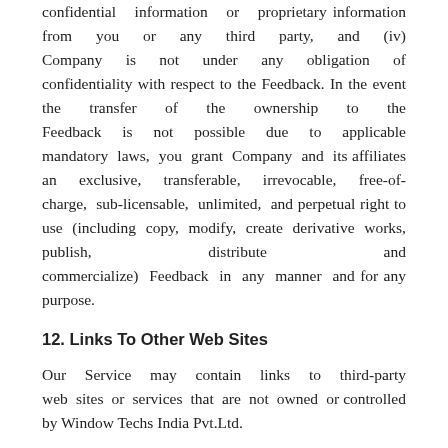confidential information or proprietary information from you or any third party, and (iv) Company is not under any obligation of confidentiality with respect to the Feedback. In the event the transfer of the ownership to the Feedback is not possible due to applicable mandatory laws, you grant Company and its affiliates an exclusive, transferable, irrevocable, free-of-charge, sub-licensable, unlimited, and perpetual right to use (including copy, modify, create derivative works, publish, distribute and commercialize) Feedback in any manner and for any purpose.
12. Links To Other Web Sites
Our Service may contain links to third-party web sites or services that are not owned or controlled by Window Techs India Pvt.Ltd.
Window Techs India Pvt.Ltd...